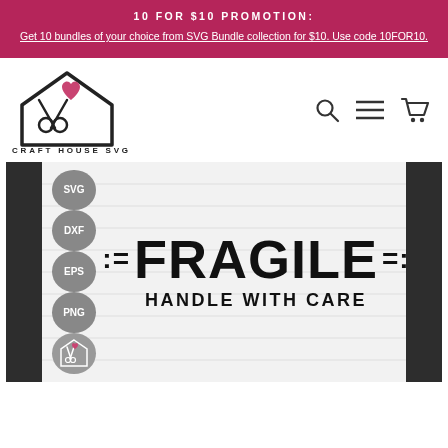10 FOR $10 PROMOTION: Get 10 bundles of your choice from SVG Bundle collection for $10. Use code 10FOR10.
[Figure (logo): Craft House SVG logo — house outline with scissors and a heart, text CRAFT HOUSE SVG below]
[Figure (infographic): Product preview card showing FRAGILE HANDLE WITH CARE SVG design with format badges: SVG, DXF, EPS, PNG, and Craft House SVG logo badge on striped background]